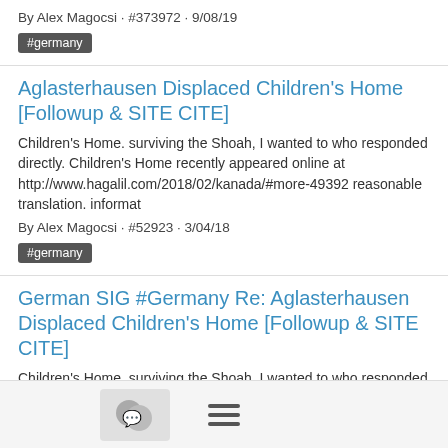By Alex Magocsi · #373972 · 9/08/19
#germany
Aglasterhausen Displaced Children's Home [Followup & SITE CITE]
Children's Home. surviving the Shoah, I wanted to who responded directly. Children's Home recently appeared online at http://www.hagalil.com/2018/02/kanada/#more-49392 reasonable translation. informat
By Alex Magocsi · #52923 · 3/04/18
#germany
German SIG #Germany Re: Aglasterhausen Displaced Children's Home [Followup & SITE CITE]
Children's Home. surviving the Shoah, I wanted to who responded directly. Children's Home recently appeared online at http://www.hagalil.com/2018/02/kanada/#more-49392 reasonable translation. informat